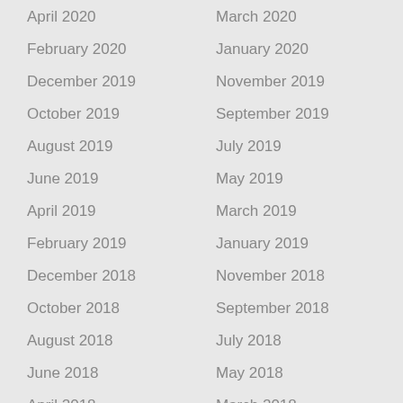April 2020
March 2020
February 2020
January 2020
December 2019
November 2019
October 2019
September 2019
August 2019
July 2019
June 2019
May 2019
April 2019
March 2019
February 2019
January 2019
December 2018
November 2018
October 2018
September 2018
August 2018
July 2018
June 2018
May 2018
April 2018
March 2018
February 2018
January 2018
December 2017
November 2017
October 2017
September 2017